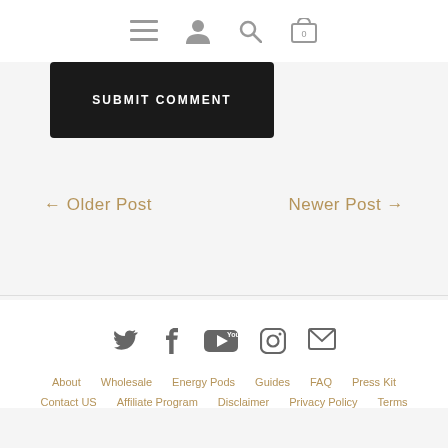Navigation bar with menu, user, search, and cart (0) icons
SUBMIT COMMENT
← Older Post    Newer Post →
Social icons: Twitter, Facebook, YouTube, Instagram, Email | About | Wholesale | Energy Pods | Guides | FAQ | Press Kit | Contact US | Affiliate Program | Disclaimer | Privacy Policy | Terms